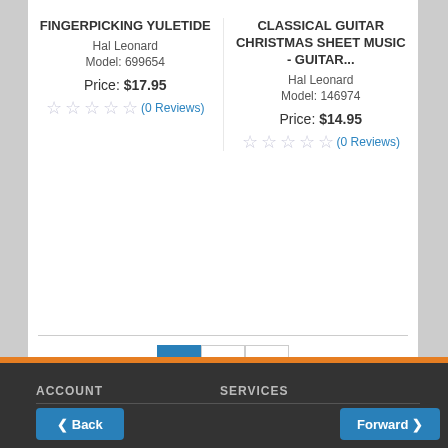FINGERPICKING YULETIDE
Hal Leonard
Model: 699654
Price: $17.95
(0 Reviews)
CLASSICAL GUITAR CHRISTMAS SHEET MUSIC - GUITAR...
Hal Leonard
Model: 146974
Price: $14.95
(0 Reviews)
Products 1 to 32 of 36
ACCOUNT    SERVICES